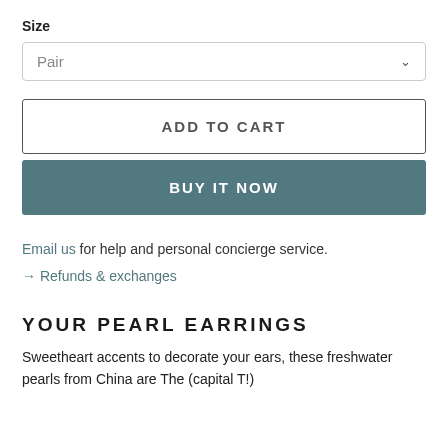Size
Pair
ADD TO CART
BUY IT NOW
Email us for help and personal concierge service.
→ Refunds & exchanges
YOUR PEARL EARRINGS
Sweetheart accents to decorate your ears, these freshwater pearls from China are The (capital T!)